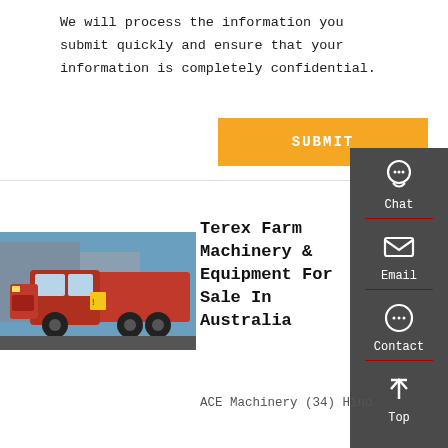We will process the information you submit quickly and ensure that your information is completely confidential.
SUBMIT
[Figure (illustration): Sidebar panel with dark grey background showing Chat, Email, Contact, and Top navigation icons in white]
[Figure (photo): Red dump truck / tipper truck photographed from the side-front]
Terex Farm Machinery & Equipment For Sale In Australia
ACE Machinery (34) Hino